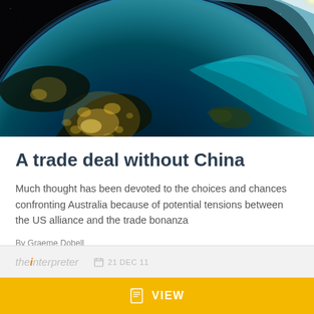[Figure (photo): Satellite photo of Earth from space showing city lights at night over Asia/Australia region with deep space background and blue ocean/atmosphere visible]
A trade deal without China
Much thought has been devoted to the choices and chances confronting Australia because of potential tensions between the US alliance and the trade bonanza
By Graeme Dobell
the interpreter   21 DEC 11
VIEW